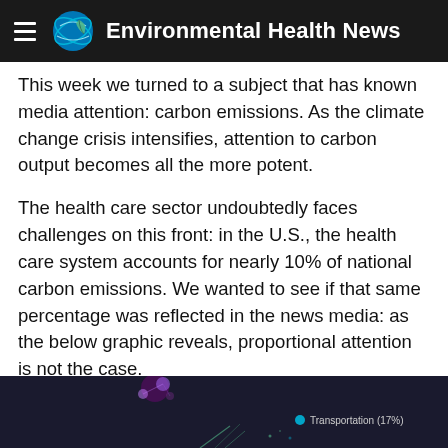Environmental Health News
This week we turned to a subject that has known media attention: carbon emissions. As the climate change crisis intensifies, attention to carbon output becomes all the more potent.
The health care sector undoubtedly faces challenges on this front: in the U.S., the health care system accounts for nearly 10% of national carbon emissions. We wanted to see if that same percentage was reflected in the news media: as the below graphic reveals, proportional attention is not the case.
[Figure (infographic): Dark background graphic showing a network/bubble visualization with a legend entry for Transportation (17%) visible in teal/green. Partial view of the bottom of the chart.]